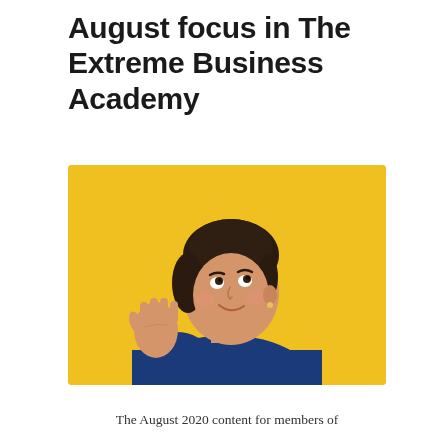August focus in The Extreme Business Academy
[Figure (photo): A woman in a blue top against a yellow background making a 'stop' gesture with her right hand raised, palm forward, while looking up and to the side with a slight smile.]
The August 2020 content for members of